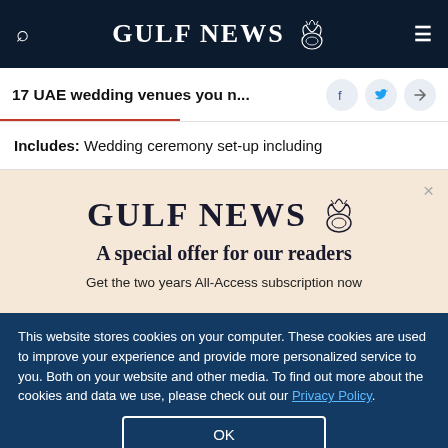GULF NEWS
17 UAE wedding venues you n...
Includes: Wedding ceremony set-up including
[Figure (logo): Gulf News logo with eagle emblem and text 'A special offer for our readers']
Get the two years All-Access subscription now
This website stores cookies on your computer. These cookies are used to improve your experience and provide more personalized service to you. Both on your website and other media. To find out more about the cookies and data we use, please check out our Privacy Policy.
OK